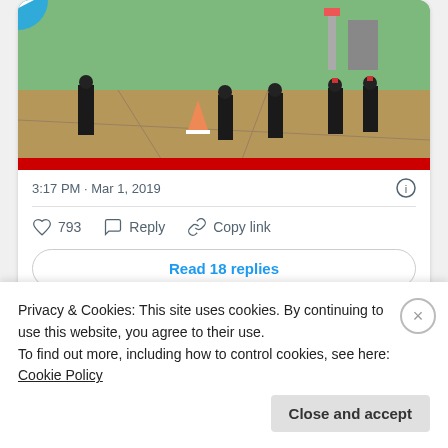[Figure (screenshot): Video thumbnail showing military personnel on a tarmac with a play button overlay]
3:17 PM · Mar 1, 2019
793   Reply   Copy link
Read 18 replies
Privacy & Cookies: This site uses cookies. By continuing to use this website, you agree to their use.
To find out more, including how to control cookies, see here: Cookie Policy
Close and accept